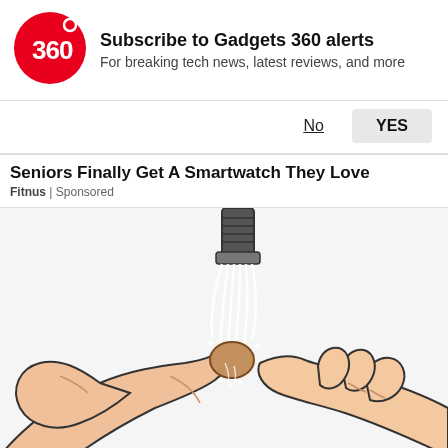[Figure (logo): Gadgets 360 red circle logo with '360' text in white]
Subscribe to Gadgets 360 alerts
For breaking tech news, latest reviews, and more
No   YES
Seniors Finally Get A Smartwatch They Love
Fitnus | Sponsored
[Figure (illustration): Cartoon illustration of two hands with water splashing from a faucet/showerhead onto them]